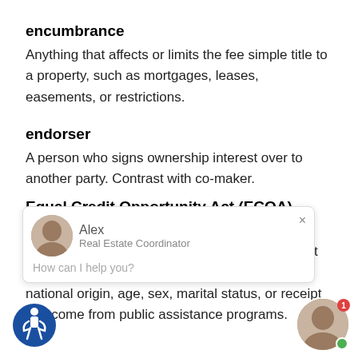encumbrance
Anything that affects or limits the fee simple title to a property, such as mortgages, leases, easements, or restrictions.
endorser
A person who signs ownership interest over to another party. Contrast with co-maker.
Equal Credit Opportunity Act (ECOA)
A federal law that requires lenders and other creditors to make credit equally available without discrimination based on race, color, religion, national origin, age, sex, marital status, or receipt of income from public assistance programs.